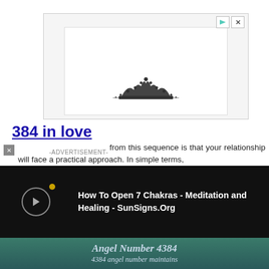[Figure (other): Advertisement banner with decorative mandala/crown illustration at bottom center, white inner box with border]
384 in love
-ADVERTISEMENT-
from this sequence is that your relationship will face a practical approach. In simple terms,
[Figure (other): Dark black overlay notification bar showing 'How To Open 7 Chakras - Meditation and Healing - SunSigns.Org' with video thumbnail circle and yellow dot on left]
[Figure (other): Teal/green background image showing 'Angel Number 4384' title and italic text '4384 angel number maintains that the positive manifestations']